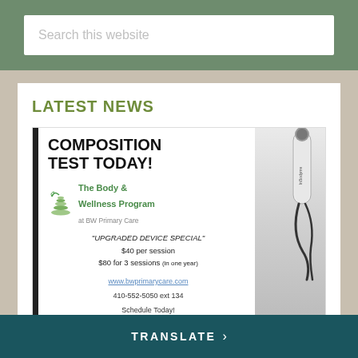[Figure (screenshot): Search bar UI element with placeholder text 'Search this website' on green background]
LATEST NEWS
[Figure (infographic): Advertisement for Body Composition Test at BW Primary Care Body & Wellness Program. Text: COMPOSITION TEST TODAY! *UPGRADED DEVICE SPECIAL* $40 per session, $80 for 3 sessions (in one year). www.bwprimarycare.com, 410-552-5050 ext 134, Schedule Today! Shows InBodyme device on right side.]
TRANSLATE >